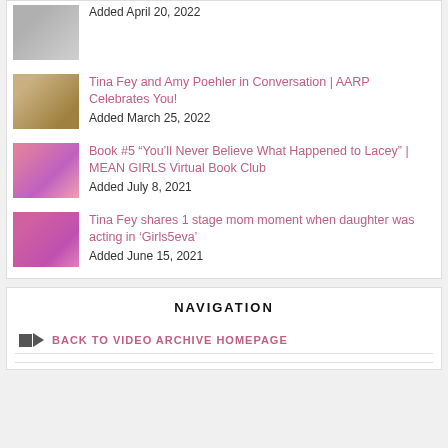Added April 20, 2022
Tina Fey and Amy Poehler in Conversation | AARP Celebrates You! Added March 25, 2022
Book #5 “You’ll Never Believe What Happened to Lacey” | MEAN GIRLS Virtual Book Club Added July 8, 2021
Tina Fey shares 1 stage mom moment when daughter was acting in ‘Girls5eva’ Added June 15, 2021
NAVIGATION
BACK TO VIDEO ARCHIVE HOMEPAGE